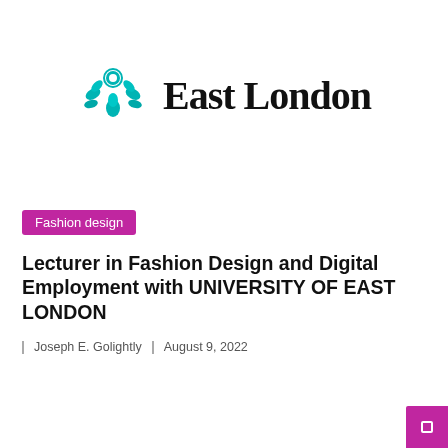[Figure (logo): University of East London logo with teal crest icon and text 'East London' in serif font]
Fashion design
Lecturer in Fashion Design and Digital Employment with UNIVERSITY OF EAST LONDON
Joseph E. Golightly   August 9, 2022
[Figure (line-chart): Partial line chart with y-axis values 150, 200, 250 visible, showing a teal/light blue line with data points, and Market Research Intellect logo overlay]